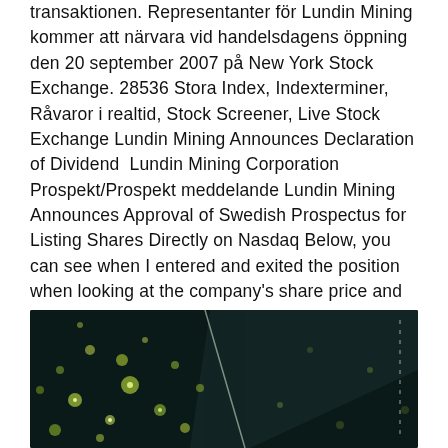transaktionen. Representanter för Lundin Mining kommer att närvara vid handelsdagens öppning den 20 september 2007 på New York Stock Exchange. 28536 Stora Index, Indexterminer, Råvaror i realtid, Stock Screener, Live Stock Exchange Lundin Mining Announces Declaration of Dividend  Lundin Mining Corporation Prospekt/Prospekt meddelande Lundin Mining Announces Approval of Swedish Prospectus for Listing Shares Directly on Nasdaq Below, you can see when I entered and exited the position when looking at the company's share price and copper price.
[Figure (photo): Dark background photo with scattered bright green/yellow dots of light, resembling a bokeh or aerial night scene. A diagonal bright line or edge cuts through the image.]